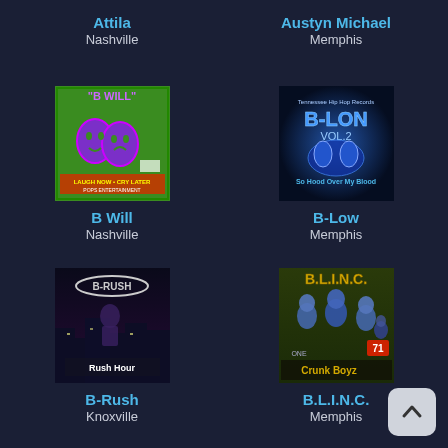Attila
Nashville
Austyn Michael
Memphis
[Figure (photo): Album cover for B Will - green background with purple theater masks, text: LAUGH NOW CRY LATER, POPS ENTERTAINMENT]
B Will
Nashville
[Figure (photo): Album cover for B-Low - dark blue background with glowing text B-LON VOL.2, subtitle text]
B-Low
Memphis
[Figure (photo): Album cover for B-Rush - dark nighttime cityscape with figure, text: B-RUSH, Rush Hour]
B-Rush
Knoxville
[Figure (photo): Album cover for B.L.I.N.C. - group of people with gold/green text B.L.I.N.C. and Crunk Boyz at bottom]
B.L.I.N.C.
Memphis